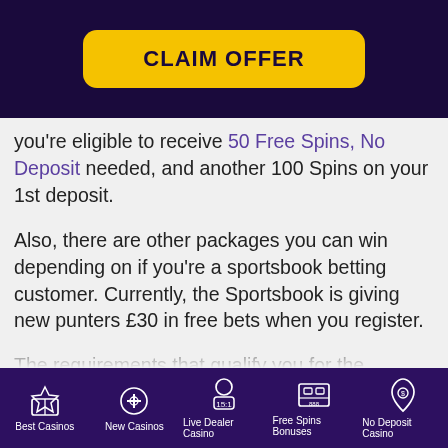[Figure (other): CLAIM OFFER button on dark purple background]
you're eligible to receive 50 Free Spins, No Deposit needed, and another 100 Spins on your 1st deposit.
Also, there are other packages you can win depending on if you're a sportsbook betting customer. Currently, the Sportsbook is giving new punters £30 in free bets when you register.
The requirements that qualify you for the bonuses include providing personal details like your name, date of birth, the country you reside in, gender, and phone number. On verifying your email address
Best Casinos | New Casinos | Live Dealer Casino | Free Spins Bonuses | No Deposit Casino